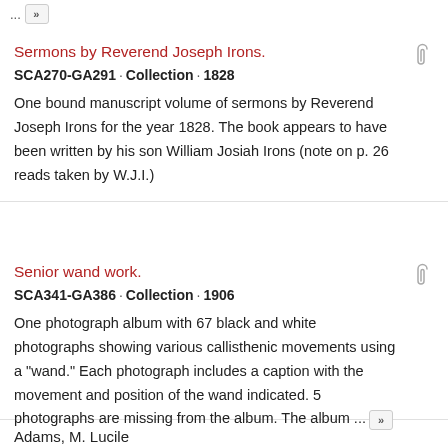...
Sermons by Reverend Joseph Irons.
SCA270-GA291 · Collection · 1828
One bound manuscript volume of sermons by Reverend Joseph Irons for the year 1828. The book appears to have been written by his son William Josiah Irons (note on p. 26 reads taken by W.J.I.)
Senior wand work.
SCA341-GA386 · Collection · 1906
One photograph album with 67 black and white photographs showing various callisthenic movements using a "wand." Each photograph includes a caption with the movement and position of the wand indicated. 5 photographs are missing from the album. The album ...
Adams, M. Lucile